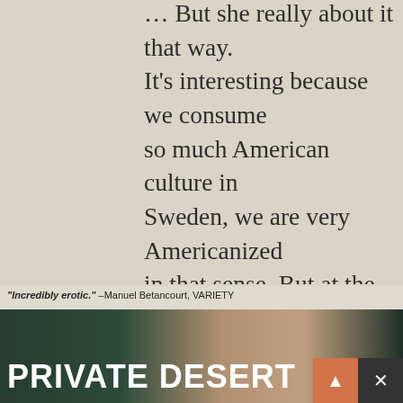... But she really about it that way. It's interesting because we consume so much American culture in Sweden, we are very Americanized in that sense. But at the same time… I thought that we were.. I didn't know that there's actually a lot of differences between mentality. It's been so interesting to understand American culture, and also to understand American feminism, because Swedish feminism and American feminism is in many ways total opposite. Have the opposite idea of how some problems should
[Figure (screenshot): Advertisement banner at bottom of page. Shows text '"Incredibly erotic." –Manuel Betancourt, VARIETY' and large white text 'PRIVATE DESERT' on dark background with a woman's face image, close X button and scroll/dismiss controls.]